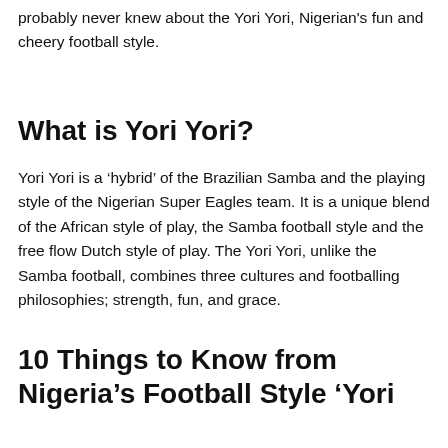probably never knew about the Yori Yori, Nigerian's fun and cheery football style.
What is Yori Yori?
Yori Yori is a ‘hybrid’ of the Brazilian Samba and the playing style of the Nigerian Super Eagles team. It is a unique blend of the African style of play, the Samba football style and the free flow Dutch style of play. The Yori Yori, unlike the Samba football, combines three cultures and footballing philosophies; strength, fun, and grace.
10 Things to Know from Nigeria’s Football Style ‘Yori